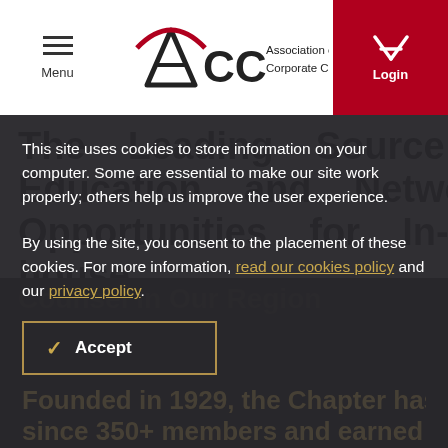Menu | ACC Association of Corporate Counsel | Login
The Leading Source of Education and Networking Opportunities for In-house
Counsel in Our Region
This site uses cookies to store information on your computer. Some are essential to make our site work properly; others help us improve the user experience.
By using the site, you consent to the placement of these cookies. For more information, read our cookies policy and our privacy policy.
Accept